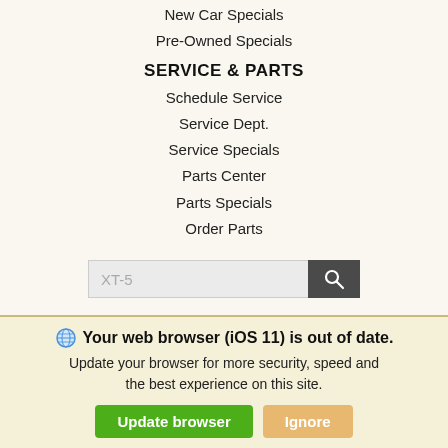New Car Specials
Pre-Owned Specials
SERVICE & PARTS
Schedule Service
Service Dept.
Service Specials
Parts Center
Parts Specials
Order Parts
[Figure (screenshot): Search input box with placeholder text 'XT-5' and a dark search button with magnifying glass icon]
Connect with us
[Figure (infographic): Social media icons: Facebook, Twitter, Instagram, YouTube — all in black square boxes]
Your web browser (iOS 11) is out of date. Update your browser for more security, speed and the best experience on this site.
Update browser | Ignore